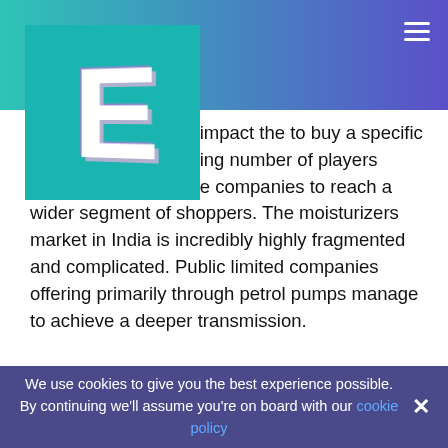[Figure (logo): 3D letter E logo in teal/cyan box with gradient header bar and hamburger menu icon]
e market, which can impact the to buy a specific brand. Circulation asing number of players available tal to get the companies to reach a wider segment of shoppers. The moisturizers market in India is incredibly highly fragmented and complicated. Public limited companies offering primarily through petrol pumps manage to achieve a deeper transmission.

Most of the MNC's have involved in oil dominant to market all their brands just like Castrol with Escorts, Orde BP with Telco. This will help to the personal companies to ascertain a wider access, manufacturer
We use cookies to give you the best experience possible. By continuing we'll assume you're on board with our cookie policy